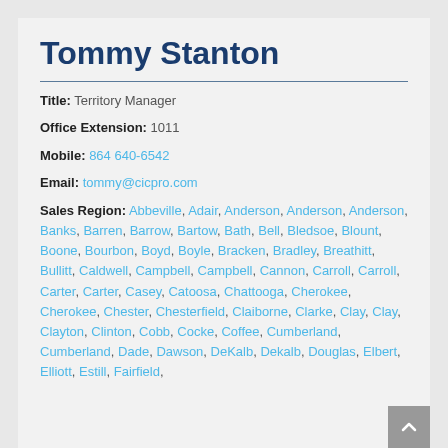Tommy Stanton
Title: Territory Manager
Office Extension: 1011
Mobile: 864 640-6542
Email: tommy@cicpro.com
Sales Region: Abbeville, Adair, Anderson, Anderson, Anderson, Banks, Barren, Barrow, Bartow, Bath, Bell, Bledsoe, Blount, Boone, Bourbon, Boyd, Boyle, Bracken, Bradley, Breathitt, Bullitt, Caldwell, Campbell, Campbell, Cannon, Carroll, Carroll, Carter, Carter, Casey, Catoosa, Chattooga, Cherokee, Cherokee, Chester, Chesterfield, Claiborne, Clarke, Clay, Clay, Clayton, Clinton, Cobb, Cocke, Coffee, Cumberland, Cumberland, Dade, Dawson, DeKalb, Dekalb, Douglas, Elbert, Elliott, Estill, Fairfield,